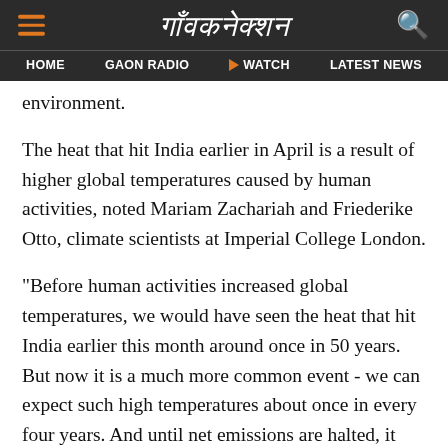गाँवकनेक्शन — HOME | GAON RADIO | ▶ WATCH | LATEST NEWS
environment.
The heat that hit India earlier in April is a result of higher global temperatures caused by human activities, noted Mariam Zachariah and Friederike Otto, climate scientists at Imperial College London.
"Before human activities increased global temperatures, we would have seen the heat that hit India earlier this month around once in 50 years. But now it is a much more common event - we can expect such high temperatures about once in every four years. And until net emissions are halted, it will